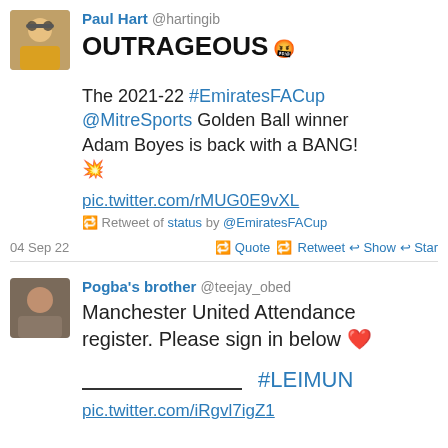[Figure (photo): Profile photo of Paul Hart, a man with sunglasses outdoors in a yellow shirt]
Paul Hart @hartingib
OUTRAGEOUS 🤬
The 2021-22 #EmiratesFACup @MitreSports Golden Ball winner Adam Boyes is back with a BANG! 💥
pic.twitter.com/rMUG0E9vXL
🔁 Retweet of status by @EmiratesFACup
04 Sep 22   🔁 Quote 🔁 Retweet ↩ Show ↩ Star
[Figure (photo): Profile photo of Pogba's brother, a man]
Pogba's brother @teejay_obed
Manchester United Attendance register. Please sign in below ❤️
_______________ #LEIMUN
pic.twitter.com/iRgvl7igZ1